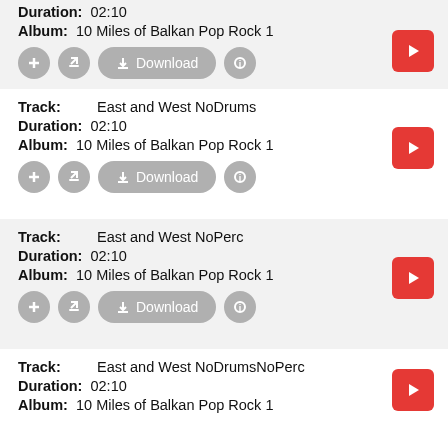Duration: 02:10
Album: 10 Miles of Balkan Pop Rock 1
Track: East and West NoDrums
Duration: 02:10
Album: 10 Miles of Balkan Pop Rock 1
Track: East and West NoPerc
Duration: 02:10
Album: 10 Miles of Balkan Pop Rock 1
Track: East and West NoDrumsNoPerc
Duration: 02:10
Album: 10 Miles of Balkan Pop Rock 1